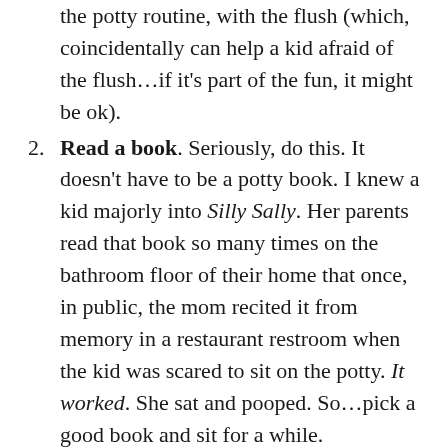the potty routine, with the flush (which, coincidentally can help a kid afraid of the flush...if it's part of the fun, it might be ok).
Read a book. Seriously, do this. It doesn't have to be a potty book. I knew a kid majorly into Silly Sally. Her parents read that book so many times on the bathroom floor of their home that once, in public, the mom recited it from memory in a restaurant restroom when the kid was scared to sit on the potty. It worked. She sat and pooped. So...pick a good book and sit for a while.
You go too. There is no real privacy with toddlers, am I right? Pull up their little chair next to your big porcelain throne. You each get a book. You sit. You go. Turn on the water to a drip. You know how it makes you have